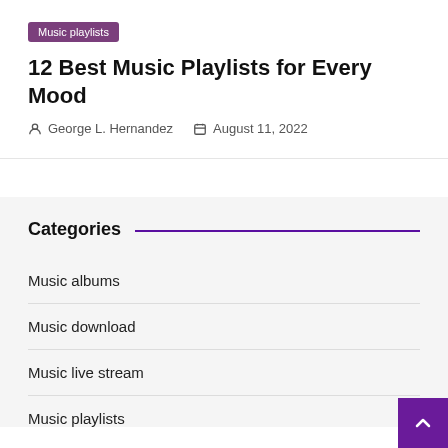Music playlists
12 Best Music Playlists for Every Mood
George L. Hernandez   August 11, 2022
Categories
Music albums
Music download
Music live stream
Music playlists